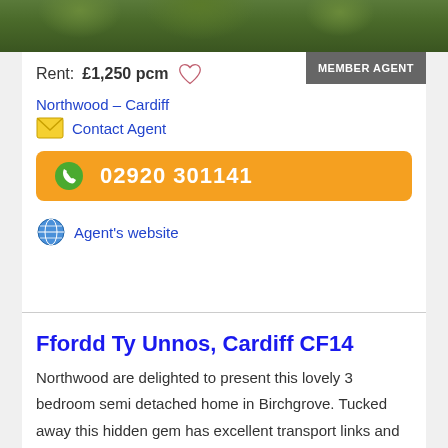[Figure (photo): Green foliage/leaves background image at top of card]
Rent: £1,250 pcm
MEMBER AGENT
Northwood – Cardiff
Contact Agent
02920 301141
Agent's website
Ffordd Ty Unnos, Cardiff CF14
Northwood are delighted to present this lovely 3 bedroom semi detached home in Birchgrove. Tucked away this hidden gem has excellent transport links and great amenities right on the door step!